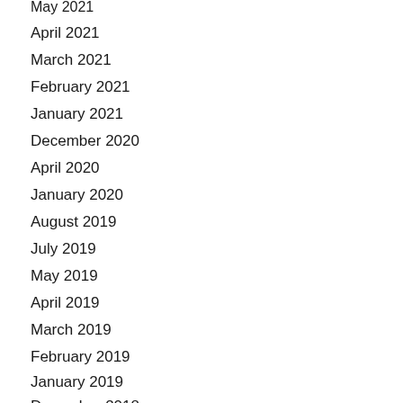May 2021
April 2021
March 2021
February 2021
January 2021
December 2020
April 2020
January 2020
August 2019
July 2019
May 2019
April 2019
March 2019
February 2019
January 2019
December 2018